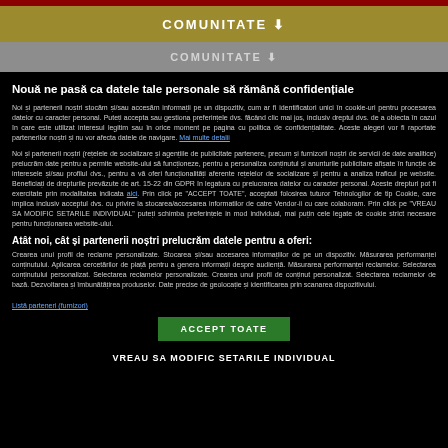COMUNITATE ↓
COMUNITATE ↓
Nouă ne pasă ca datele tale personale să rămână confidențiale
Noi și partenerii noștri stocăm și/sau accesăm informații pe un dispozitiv, cum ar fi identificatori unici în cookie-uri pentru procesarea datelor cu caracter personal. Puteți accepta sau gestiona preferințele dvs. făcând clic mai jos, inclusiv dreptul dvs. de a obiecta în cazul în care este utilizat interesul legitim sau în orice moment pe pagina cu politica de confidențialitate. Aceste alegeri vor fi raportate partenerilor noștri și nu vor afecta datele de navigare. Mai multe detalii
Noi și partenerii noștri (rețelele de socializare și agențiile de publicitate partenere, precum și furnizorii noștri de servicii de date analitice) prelucrăm date pentru a permite website-ului să funcționeze, pentru a personaliza conținutul și anunturile publicitare afișate în funcție de interesele și/sau profilul dvs., pentru a vă oferi funcționalități aferente rețelelor de socializare și pentru a analiza traficul pe website. Beneficiați de drepturile prevăzute de art. 15-22 din GDPR în legatura cu prelucrarea datelor cu caracter personal. Aceste drepturi pot fi exercitate prin modalitatea indicata aici. Prin click pe "ACCEPT TOATE", acceptati folosirea tuturor Tehnologilor de tip Cookie, care implica inclusiv acceptul dvs. cu privire la stocarea/accesarea informatilor de catre Vendor-ii cu care colaboram. Prin click pe "VREAU SA MODIFIC SETARILE INDIVIDUAL" puteți schimba preferințele in mod individual, mai puțin cele legate de cookie strict necesare pentru funcționarea website-ului.
Atât noi, cât și partenerii noștri prelucrăm datele pentru a oferi:
Crearea unui profil de reclame personalizate. Stocarea și/sau accesarea informațiilor de pe un dispozitiv. Măsurarea performanței conținutului. Aplicarea cercetărilor de piață pentru a genera informații despre audiență. Măsurarea performanței reclamelor. Selectarea conținutului personalizat. Selectarea reclamelor personalizate. Crearea unui profil de conținut personalizat. Selectarea reclamelor de bază. Dezvoltarea și îmbunătățirea produselor. Date precise de geolocație și identificarea prin scanarea dispozitivului.
Listă parteneri (furnizori)
ACCEPT TOATE
VREAU SA MODIFIC SETARILE INDIVIDUAL